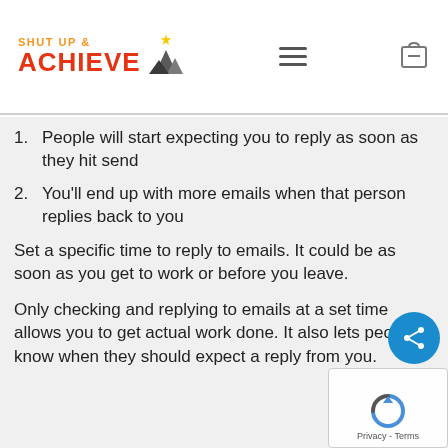SHUT UP & ACHIEVE
People will start expecting you to reply as soon as they hit send
You'll end up with more emails when that person replies back to you
Set a specific time to reply to emails. It could be as soon as you get to work or before you leave.
Only checking and replying to emails at a set time allows you to get actual work done. It also lets people know when they should expect a reply from you.